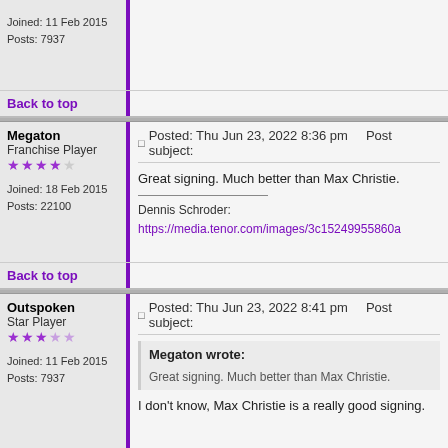Joined: 11 Feb 2015
Posts: 7937
Back to top
Megaton
Franchise Player
Joined: 18 Feb 2015
Posts: 22100
Posted: Thu Jun 23, 2022 8:36 pm    Post subject:
Great signing. Much better than Max Christie.
Dennis Schroder:
https://media.tenor.com/images/3c15249955860a...
Back to top
Outspoken
Star Player
Joined: 11 Feb 2015
Posts: 7937
Posted: Thu Jun 23, 2022 8:41 pm    Post subject:
Megaton wrote:
Great signing. Much better than Max Christie.
I don't know, Max Christie is a really good signing.
Back to top
AFireInside619
Franchise Player
Joined: 11 Feb 2015
Posts: 7937
Posted: Thu Jun 23, 2022 8:43 pm    Post subject:
Someone go check on Austin Reaves please 😊